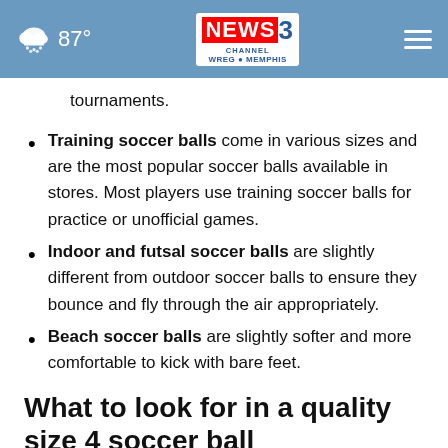87° NEWS CHANNEL 3 WREG MEMPHIS
tournaments.
Training soccer balls come in various sizes and are the most popular soccer balls available in stores. Most players use training soccer balls for practice or unofficial games.
Indoor and futsal soccer balls are slightly different from outdoor soccer balls to ensure they bounce and fly through the air appropriately.
Beach soccer balls are slightly softer and more comfortable to kick with bare feet.
What to look for in a quality size 4 soccer ball